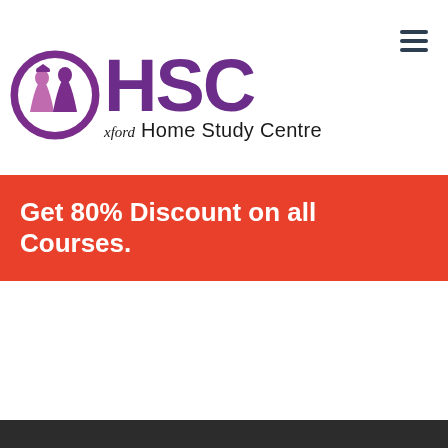[Figure (logo): HSC Oxford Home Study Centre logo with purple circular emblem containing stylized figures, large purple HSC letters, and 'xford Home Study Centre' text below]
Get 80% Discount on all Courses.